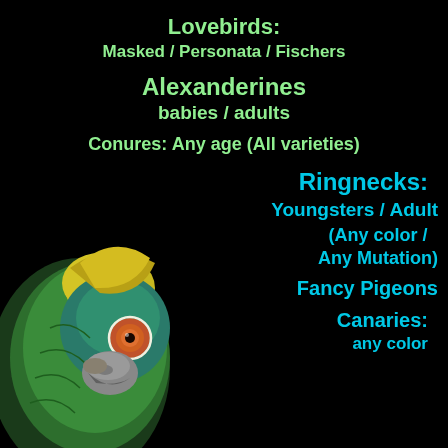Lovebirds:
Masked / Personata / Fischers
Alexanderines
babies / adults
Conures: Any age (All varieties)
[Figure (photo): Close-up photo of a green and yellow parrot (conure/amazon type) with orange eye and grey beak, against a black background, positioned in the lower-left of the image.]
Ringnecks:
Youngsters / Adult
(Any color / Any Mutation)
Fancy Pigeons
Canaries:
any color